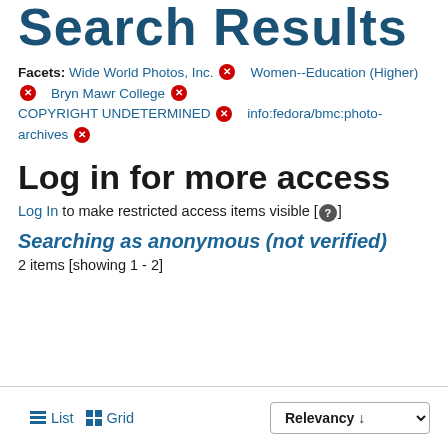Search Results
Facets: Wide World Photos, Inc. ✕   Women-- Education (Higher) ✕   Bryn Mawr College ✕   COPYRIGHT UNDETERMINED ✕   info:fedora/bmc:photo-archives ✕
Log in for more access
Log In to make restricted access items visible [ ? ]
Searching as anonymous (not verified)
2 items [showing 1 - 2]